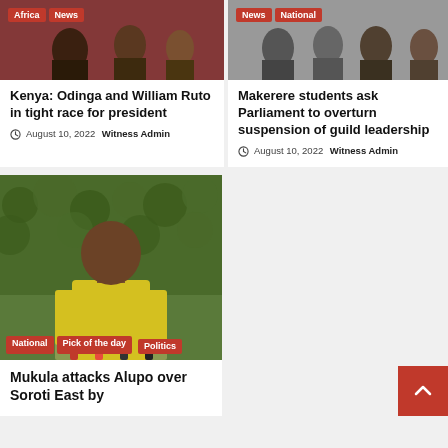[Figure (photo): Group of people at an event, dark reddish background]
Kenya: Odinga and William Ruto in tight race for president
August 10, 2022  Witness Admin
[Figure (photo): Group of people in suits, grey background]
Makerere students ask Parliament to overturn suspension of guild leadership
August 10, 2022  Witness Admin
[Figure (photo): Man in yellow shirt seated outdoors with green hedge background. Tags: National, Pick of the day, Politics]
Mukula attacks Alupo over Soroti East by